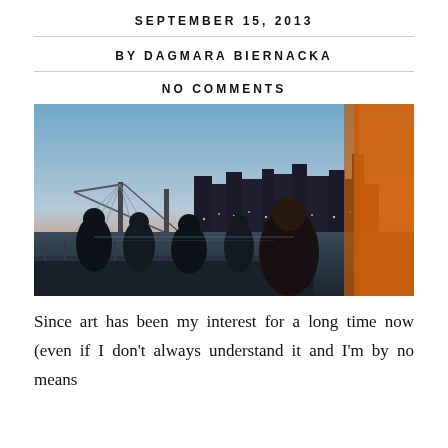SEPTEMBER 15, 2013
BY DAGMARA BIERNACKA
NO COMMENTS
[Figure (photo): Silhouettes of people standing on a boat deck at dusk with a city skyline (featuring tall buildings with lights) and a suspension bridge visible across the water in the background. An orange fabric or covering is visible on the right side of the frame.]
Since art has been my interest for a long time now (even if I don't always understand it and I'm by no means